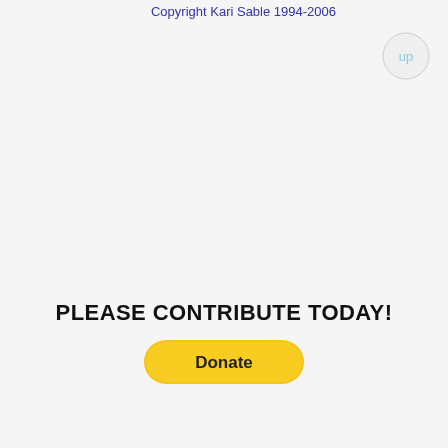Copyright Kari Sable 1994-2006
[Figure (other): Up navigation button - circular gray button with 'up' text in light blue]
PLEASE CONTRIBUTE TODAY!
[Figure (other): PayPal Donate button - yellow rounded rectangle with 'Donate' text in dark]